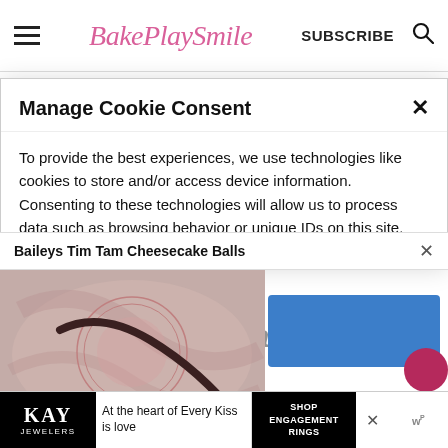BakePlaySmile — SUBSCRIBE
Manage Cookie Consent
To provide the best experiences, we use technologies like cookies to store and/or access device information. Consenting to these technologies will allow us to process data such as browsing behavior or unique IDs on this site. Not consenting may affect certain features
Baileys Tim Tam Cheesecake Balls
[Figure (photo): Photo of Baileys Tim Tam Cheesecake Balls with decorative circular logo overlay]
substitute it for a different liqueur (such
[Figure (screenshot): KAY Jewelers advertisement: At the heart of Every Kiss is love — Shop Engagement Rings]